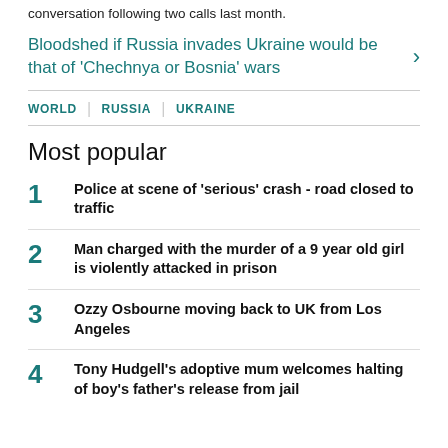conversation following two calls last month.
Bloodshed if Russia invades Ukraine would be that of 'Chechnya or Bosnia' wars
WORLD | RUSSIA | UKRAINE
Most popular
1 Police at scene of 'serious' crash - road closed to traffic
2 Man charged with the murder of a 9 year old girl is violently attacked in prison
3 Ozzy Osbourne moving back to UK from Los Angeles
4 Tony Hudgell's adoptive mum welcomes halting of boy's father's release from jail